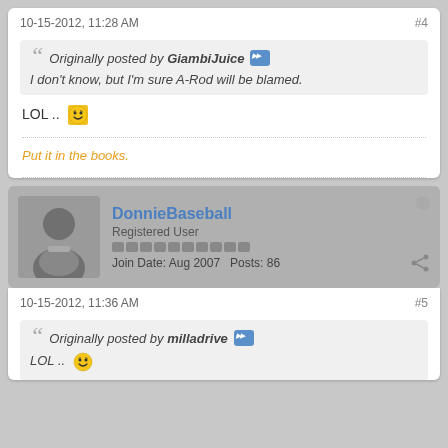10-15-2012, 11:28 AM
#4
Originally posted by GiambiJuice
I don't know, but I'm sure A-Rod will be blamed.
LOL ..
Put it in the books.
DonnieBaseball
Registered User
Join Date: Aug 2007   Posts: 86
10-15-2012, 11:36 AM
#5
Originally posted by milladrive
LOL ..